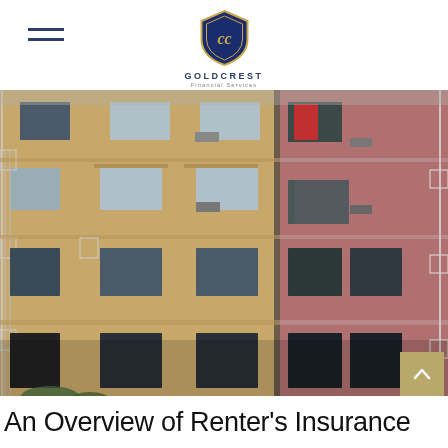GOLDCREST Financial Services
[Figure (photo): Facade of two urban apartment buildings side-by-side: left building is tan/yellow brick with fire escapes and multiple floors of windows; right building is pink/rose brick with fire escapes and a red curtain visible in one window.]
An Overview of Renter’s Insurance